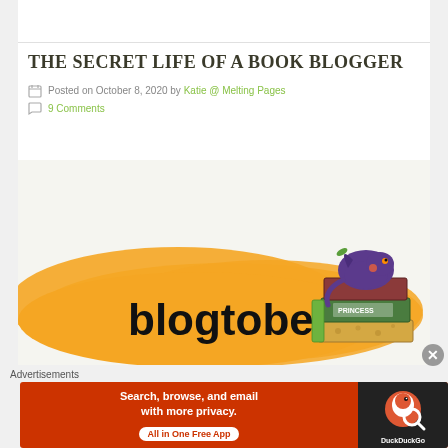THE SECRET LIFE OF A BOOK BLOGGER
Posted on October 8, 2020 by Katie @ Melting Pages
9 Comments
[Figure (illustration): Blogtober illustration with orange cloudy background, stylized 'blogtober' text in black handwritten font, and a stack of colorful books with a small purple creature sitting on top]
Advertisements
[Figure (other): DuckDuckGo advertisement banner: 'Search, browse, and email with more privacy. All in One Free App' with DuckDuckGo logo on dark background]